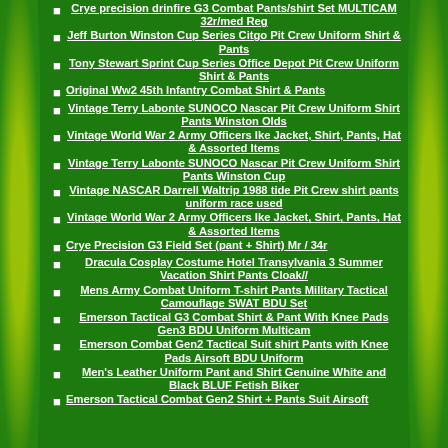Crye precision drinfire G3 Combat Pants/shirt Set MULTICAM 32r/med Reg
Jeff Burton Winston Cup Series Citgo Pit Crew Uniform Shirt & Pants
Tony Stewart Sprint Cup Series Office Depot Pit Crew Uniform Shirt & Pants
Original Ww2 45th Infantry Combat Shirt & Pants
Vintage Terry Labonte SUNOCO Nascar Pit Crew Uniform Shirt Pants Winston Olds
Vintage World War 2 Army Officers Ike Jacket, Shirt, Pants, Hat & Assorted Items
Vintage Terry Labonte SUNOCO Nascar Pit Crew Uniform Shirt Pants Winston Cup
Vintage NASCAR Darrell Waltrip 1988 tide Pit Crew shirt pants uniform race used
Vintage World War 2 Army Officers Ike Jacket, Shirt, Pants, Hat & Assorted Items
Crye Precision G3 Field Set (pant + Shirt) Mr / 34r
Dracula Cosplay Costume Hotel Transylvania 3 Summer Vacation Shirt Pants Cloak//
Mens Army Combat Uniform T-shirt Pants Military Tactical Camouflage SWAT BDU Set
Emerson Tactical G3 Combat Shirt & Pant With Knee Pads Gen3 BDU Uniform Multicam
Emerson Combat Gen2 Tactical Suit shirt Pants with Knee Pads Airsoft BDU Uniform
Men's Leather Uniform Pant and Shirt Genuine White and Black BLUF Fetish Biker
Emerson Tactical Combat Gen2 Shirt + Pants Suit Airsoft...